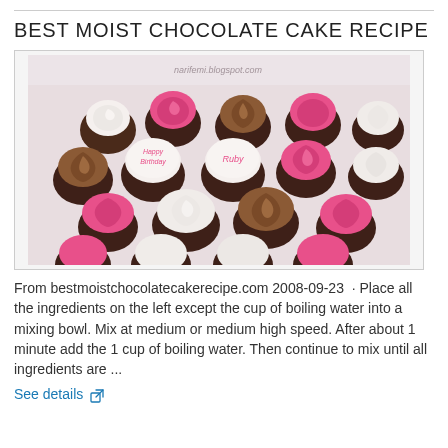BEST MOIST CHOCOLATE CAKE RECIPE
[Figure (photo): Box of decorated cupcakes with pink, brown/chocolate swirl, and white frosting rosettes. Two cupcakes in the center have 'Happy Birthday Ruby' written on them. A watermark reads narifemi.blogspot.com.]
From bestmoistchocolatecakerecipe.com
2008-09-23  · Place all the ingredients on the left except the cup of boiling water into a mixing bowl. Mix at medium or medium high speed. After about 1 minute add the 1 cup of boiling water. Then continue to mix until all ingredients are ...
See details ↗